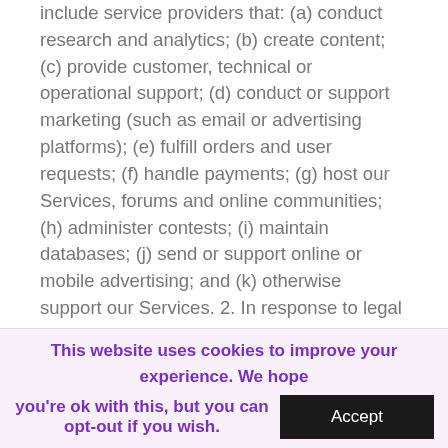include service providers that: (a) conduct research and analytics; (b) create content; (c) provide customer, technical or operational support; (d) conduct or support marketing (such as email or advertising platforms); (e) fulfill orders and user requests; (f) handle payments; (g) host our Services, forums and online communities; (h) administer contests; (i) maintain databases; (j) send or support online or mobile advertising; and (k) otherwise support our Services. 2. In response to legal process, for example, in response to a court order or
This website uses cookies to improve your experience. We hope you're ok with this, but you can opt-out if you wish.